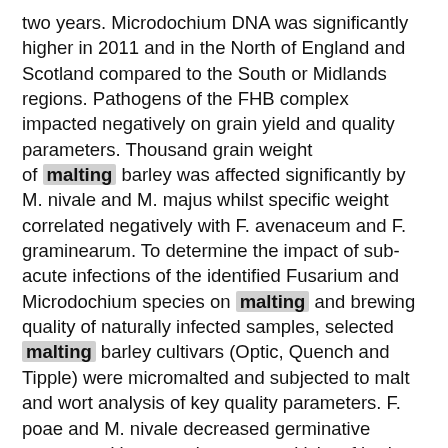two years. Microdochium DNA was significantly higher in 2011 and in the North of England and Scotland compared to the South or Midlands regions. Pathogens of the FHB complex impacted negatively on grain yield and quality parameters. Thousand grain weight of malting barley was affected significantly by M. nivale and M. majus whilst specific weight correlated negatively with F. avenaceum and F. graminearum. To determine the impact of sub-acute infections of the identified Fusarium and Microdochium species on malting and brewing quality of naturally infected samples, selected malting barley cultivars (Optic, Quench and Tipple) were micromalted and subjected to malt and wort analysis of key quality parameters. F. poae and M. nivale decreased germinative energy and increased water sensitivity of barley. The fungal biomass of F. poae and F. langsethiae correlated with increased wort free amino nitrogen and with decreased extract of malt. DNA of M. nivale correlated with increased malt friability as well as decreased wort filtration volume. The findings of this study indicate that the impact of species such as the newly emerging F.